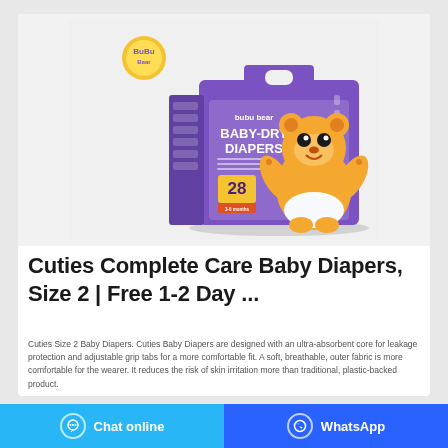[Figure (photo): Product photo of BuBu Bear Baby-Dry Diapers package, purple colored box with cartoon bear mascot, showing '28' count, displayed on white/light gray background]
Cuties Complete Care Baby Diapers, Size 2 | Free 1-2 Day ...
Cuties Size 2 Baby Diapers. Cuties Baby Diapers are designed with an ultra-absorbent core for leakage protection and adjustable grip tabs for a more comfortable fit. A soft, breathable, outer fabric is more comfortable for the wearer. It reduces the risk of skin irritation more than traditional, plastic-backed product.
Chat online | WhatsApp